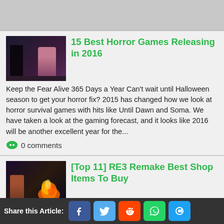15 Best Horror Games Releasing in 2016
Keep the Fear Alive 365 Days a Year Can't wait until Halloween season to get your horror fix? 2015 has changed how we look at horror survival games with hits like Until Dawn and Soma. We have taken a look at the gaming forecast, and it looks like 2016 will be another excellent year for the...
0 comments
[Top 11] RE3 Remake Best Shop Items To Buy
11. Hip Pouch This small, belted pouch is good for carrying more items on your person. While the game already comes with several pouches that can be found in game already, who doesn't need more inventory space? There is a great way to enhance the looks of
Share this Article: